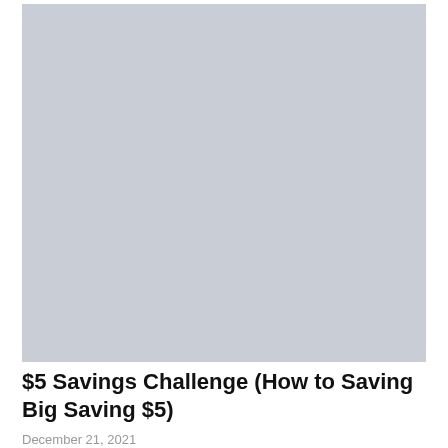[Figure (photo): Large light gray placeholder image rectangle at the top of the page]
$5 Savings Challenge (How to Saving Big Saving $5)
December 21, 2021